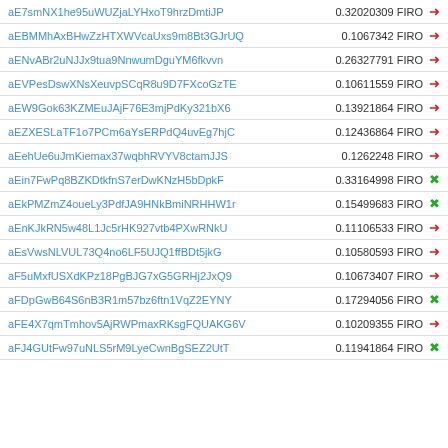| Address | Value / Token / Status |
| --- | --- |
| aE7smNX1he95uWUZjaLYHxoT9hrzDmtiJP | 0.32020309 FIRO → |
| aEBMMhAxBHwZzHTXWVcaUxs9m8Bt3GJrUQ | 0.1067342 FIRO → |
| aENvABr2uNJJx9tua9NnwumDguYM6fkvvn | 0.26327791 FIRO → |
| aEVPesDswXNsXeuvpSCqR8u9D7FXcoGzTE | 0.10611559 FIRO → |
| aEW9Gok63KZMEuJAjF76E3mjPdKy321bX6 | 0.13921864 FIRO → |
| aEZXESLaTF1o7PCm6aYsERPdQ4uvEg7hjC | 0.12436864 FIRO → |
| aEehUe6uJmKiemax37wqbhRVYV8ctamJJS | 0.1262248 FIRO → |
| aEin7FwPq8BZKDtkfnS7erDwKNzH5bDpkF | 0.33164998 FIRO × |
| aEkPMZmZ4oueLy3PdfJA9HNkBmiNRHHW1r | 0.15499683 FIRO × |
| aEnKJkRN5w48L1Jc5rHK927vtb4PXwRNkU | 0.11106533 FIRO → |
| aEsVwsNLVUL73Q4no6LF5UJQ1ffBDt5jkG | 0.10580593 FIRO → |
| aF5uMxfUSXdKPz18PgBJG7xG5GRHj2JxQ9 | 0.10673407 FIRO → |
| aFDpGwB64S6nB3R1m57bz6ftn1VqZ2EYNY | 0.17294056 FIRO × |
| aFE4X7qmTmhov5AjRWPmaxRKsgFQUAKG6V | 0.10209355 FIRO → |
| aFJ4GUtFw97uNLS5rM9LyeCwnBgSEZ2UtT | 0.11941864 FIRO × |